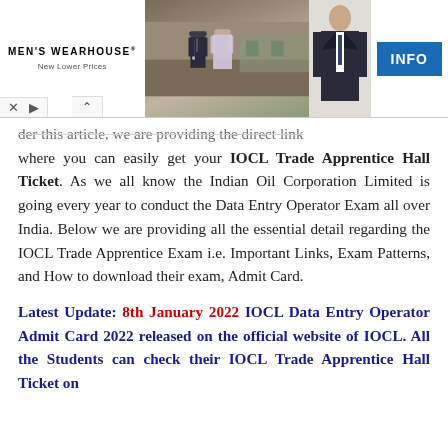[Figure (photo): Men's Wearhouse advertisement banner with logo on left, couple in formal wear in center, man in suit on right, and blue INFO button]
der this article, we are providing the direct link where you can easily get your IOCL Trade Apprentice Hall Ticket. As we all know the Indian Oil Corporation Limited is going every year to conduct the Data Entry Operator Exam all over India. Below we are providing all the essential detail regarding the IOCL Trade Apprentice Exam i.e. Important Links, Exam Patterns, and How to download their exam, Admit Card.
Latest Update: 8th January 2022 IOCL Data Entry Operator Admit Card 2022 released on the official website of IOCL. All the Students can check their IOCL Trade Apprentice Hall Ticket on